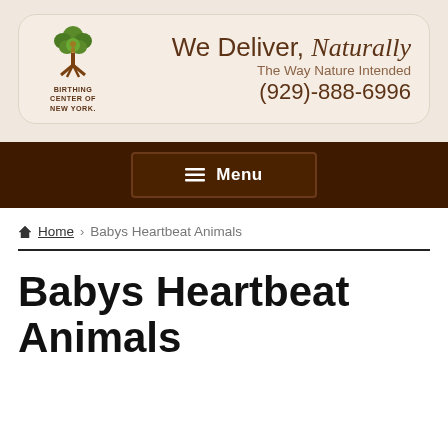[Figure (logo): Birthing Center of New York logo — green tree with brown roots and a stylized figure, text reads BIRTHING CENTER OF NEW YORK]
We Deliver, Naturally
The Way Nature Intended
(929)-888-6996
Menu
Home › Babys Heartbeat Animals
Babys Heartbeat Animals